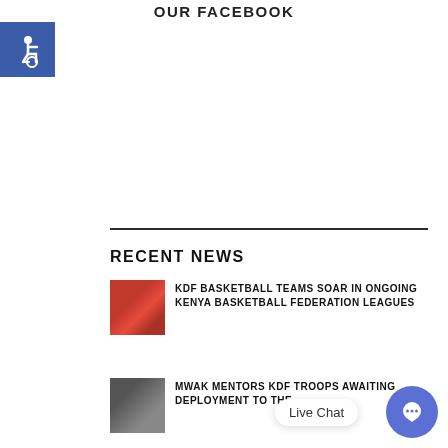OUR FACEBOOK
[Figure (illustration): Accessibility wheelchair icon on blue background]
RECENT NEWS
[Figure (photo): Basketball players on court, KDF basketball teams photo]
KDF BASKETBALL TEAMS SOAR IN ONGOING KENYA BASKETBALL FEDERATION LEAGUES
[Figure (photo): MWAK mentors KDF troops photo]
MWAK MENTORS KDF TROOPS AWAITING DEPLOYMENT TO THE